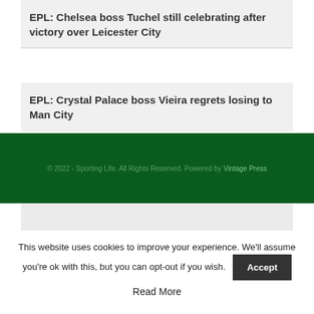EPL: Chelsea boss Tuchel still celebrating after victory over Leicester City
EPL: Crystal Palace boss Vieira regrets losing to Man City
[Figure (other): Advertisement placeholder box]
© 2022 - Sporting Life. All Rights Reserved. Powered by Vintage Press
This website uses cookies to improve your experience. We'll assume you're ok with this, but you can opt-out if you wish.
Accept
Read More